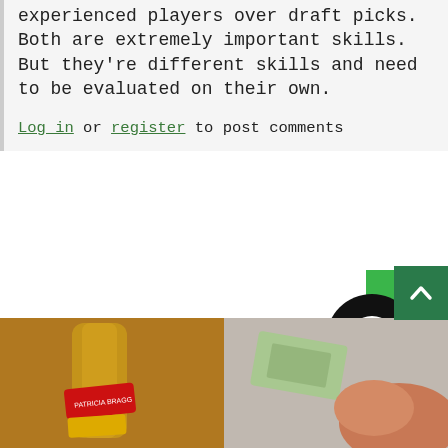experienced players over draft picks. Both are extremely important skills. But they're different skills and need to be evaluated on their own.
Login or register to post comments
Around The Web
[Figure (logo): Circular logo with black donut shape and green square accent — brand/site logo]
[Figure (photo): Two side-by-side photos: left shows a bottle of liquid with red and yellow labels; right shows a hand holding a small packet or sachet]